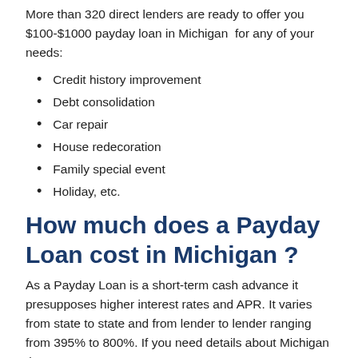More than 320 direct lenders are ready to offer you $100-$1000 payday loan in Michigan  for any of your needs:
Credit history improvement
Debt consolidation
Car repair
House redecoration
Family special event
Holiday, etc.
How much does a Payday Loan cost in Michigan ?
As a Payday Loan is a short-term cash advance it presupposes higher interest rates and APR. It varies from state to state and from lender to lender ranging from 395% to 800%. If you need details about Michigan  interest rates